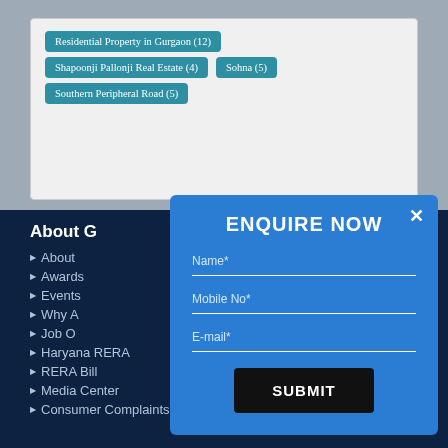Residential Property in Gurgaon (12)
Shapoonji Pallonji Real Estate (4)
Sohna (5)
Southern Peripheral Road (5)
About G
About
Awards
Events
Why A
Job O
Haryana RERA
RERA Bill
Media Center
Consumer Complaints Redressal
[Figure (screenshot): Enquire Now modal dialog with Name, Mobile No, and E-mail fields and a Submit button, overlaid on a real estate website page]